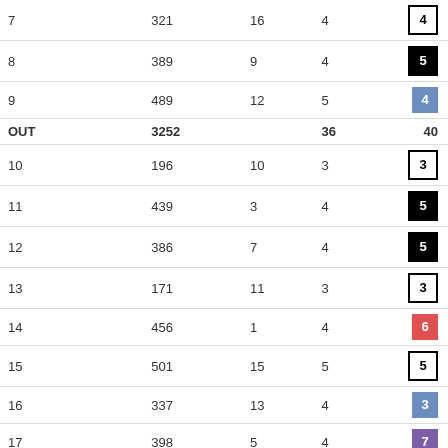| HOLE | YARDS | HDCP | PAR | SCORE |
| --- | --- | --- | --- | --- |
| 7 | 321 | 16 | 4 | 4 |
| 8 | 389 | 9 | 4 | 5 |
| 9 | 489 | 12 | 5 | 4 |
| OUT | 3252 |  | 36 | 40 |
| 10 | 196 | 10 | 3 | 3 |
| 11 | 439 | 3 | 4 | 5 |
| 12 | 386 | 7 | 4 | 5 |
| 13 | 171 | 11 | 3 | 3 |
| 14 | 456 | 1 | 4 | 6 |
| 15 | 501 | 15 | 5 | 5 |
| 16 | 337 | 13 | 4 | 3 |
| 17 | 398 | 5 | 4 | 7 |
| 18 | 450 | 17 | 5 | 5 |
| IN | 3334 |  | 36 | 42 |
| TOTAL | 6586 |  | 72 | 82 |
|  |  |  |  | Result: Gross 82 |